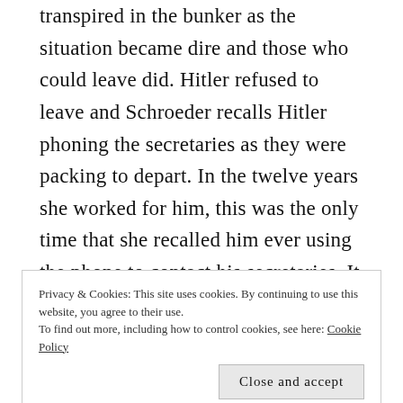transpired in the bunker as the situation became dire and those who could leave did. Hitler refused to leave and Schroeder recalls Hitler phoning the secretaries as they were packing to depart. In the twelve years she worked for him, this was the only time that she recalled him ever using the phone to contact his secretaries. It was clear at this point that Berlin was beyond hope. Schroeder did not make it out of Germany but was instead taken into custody by Allied forces
Privacy & Cookies: This site uses cookies. By continuing to use this website, you agree to their use.
To find out more, including how to control cookies, see here: Cookie Policy